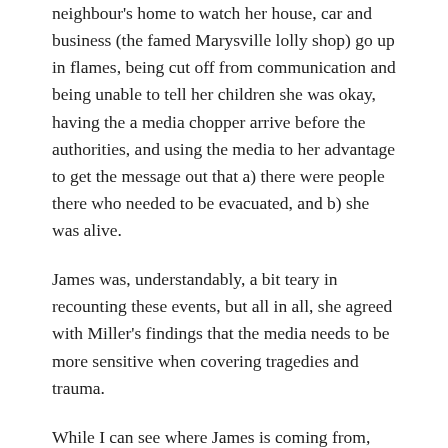neighbour's home to watch her house, car and business (the famed Marysville lolly shop) go up in flames, being cut off from communication and being unable to tell her children she was okay, having the a media chopper arrive before the authorities, and using the media to her advantage to get the message out that a) there were people there who needed to be evacuated, and b) she was alive.
James was, understandably, a bit teary in recounting these events, but all in all, she agreed with Miller's findings that the media needs to be more sensitive when covering tragedies and trauma.
While I can see where James is coming from, having been involved in Black Saturday and seeing images of herself and her friends (some of whom didn't make it) plastered on newspapers and being shown on television two years later (without her consent), I do believe the public has a right to know about these things.